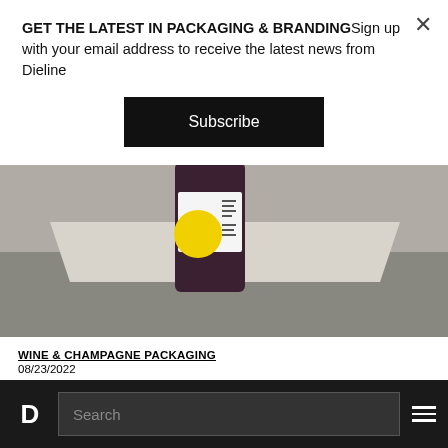GET THE LATEST IN PACKAGING & BRANDINGSign up with your email address to receive the latest news from Dieline
Subscribe
[Figure (photo): Product photo of a wine bottle with a yellow and white label on a stone surface]
WINE & CHAMPAGNE PACKAGING
08/23/2022
Experience École's Modern Wine Design, Exactly
D  Search  ☰